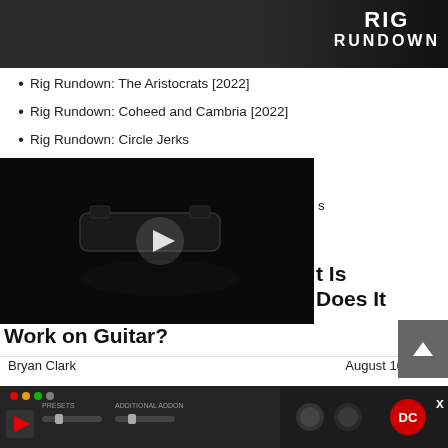[Figure (photo): Top banner image showing musicians on stage with a Rig Rundown logo overlay in white text on dark background]
Rig Rundown: The Aristocrats [2022]
Rig Rundown: Coheed and Cambria [2022]
Rig Rundown: Circle Jerks
Rig Rundown: Foxing
[Figure (screenshot): Dark video thumbnail with a play button, showing a guitar pedal/accessory on black background]
t Is Does It Work on Guitar?
Bryan Clark
August 16, 2022
[Figure (screenshot): Bottom strip showing a music software/plugin interface with a DC logo and X button overlay]